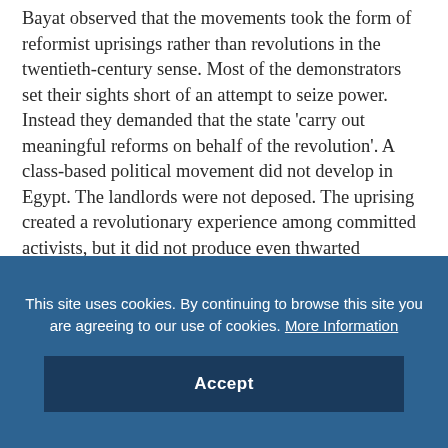Bayat observed that the movements took the form of reformist uprisings rather than revolutions in the twentieth-century sense. Most of the demonstrators set their sights short of an attempt to seize power. Instead they demanded that the state 'carry out meaningful reforms on behalf of the revolution'. A class-based political movement did not develop in Egypt. The landlords were not deposed. The uprising created a revolutionary experience among committed activists, but it did not produce even thwarted revolutionary outcomes.
This site uses cookies. By continuing to browse this site you are agreeing to our use of cookies. More Information
Accept